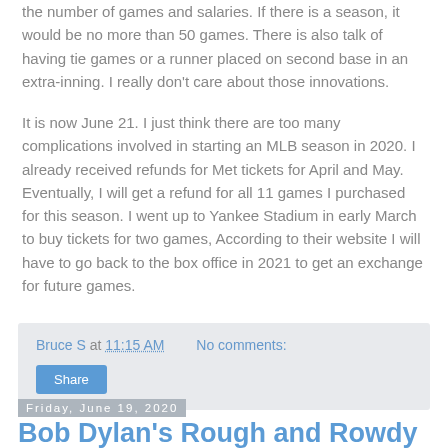the number of games and salaries.  If there is a season, it would be no more than 50 games.  There is also talk of having tie games or a runner placed on second base in an extra-inning.  I really don't care about those innovations.
It is now June 21.  I just think there are too many complications involved in starting an MLB season in 2020.  I already received refunds for Met tickets for April and May.  Eventually, I will get a refund for all 11 games I purchased for this season.  I went up to Yankee Stadium in early March to buy tickets for two games,  According to their website I will have to go back to the box office in 2021 to get an exchange for future games.
Bruce S at 11:15 AM  No comments:  Share
Friday, June 19, 2020
Bob Dylan's Rough and Rowdy Ways